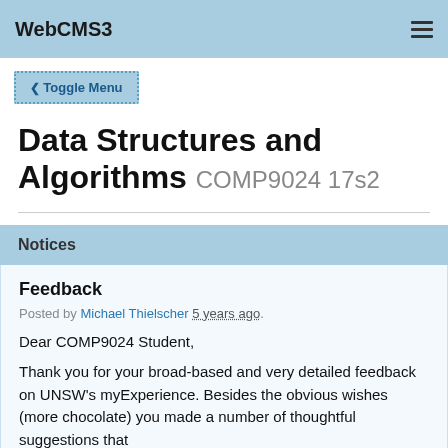WebCMS3
Toggle Menu
Data Structures and Algorithms COMP9024 17s2
Notices
Feedback
Posted by Michael Thielscher 5 years ago.
Dear COMP9024 Student,
Thank you for your broad-based and very detailed feedback on UNSW's myExperience. Besides the obvious wishes (more chocolate) you made a number of thoughtful suggestions that